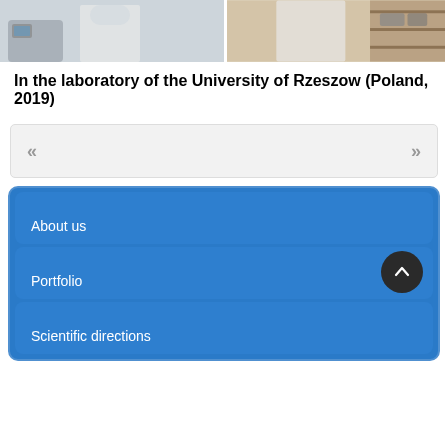[Figure (photo): Two laboratory photos side by side: left shows a person in a white lab coat near lab equipment; right shows a person in a white lab coat near shelving with equipment.]
In the laboratory of the University of Rzeszow (Poland, 2019)
[Figure (other): Navigation strip with left double-angle quote and right double-angle quote arrows on grey background]
About us
Portfolio
Scientific directions